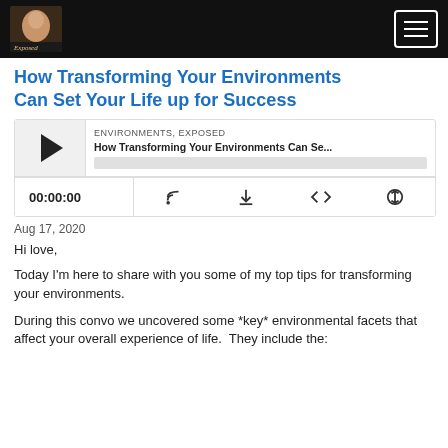Environments Exposed podcast header with logo and hamburger menu
How Transforming Your Environments Can Set Your Life up for Success
[Figure (screenshot): Podcast audio player widget showing ENVIRONMENTS, EXPOSED label, episode title 'How Transforming Your Environments Can Se...', play button, progress bar, time display 00:00:00, and control icons for RSS feed, download, embed, and share]
Aug 17, 2020
Hi love,
Today I'm here to share with you some of my top tips for transforming your environments.
During this convo we uncovered some *key* environmental facets that affect your overall experience of life.  They include the: